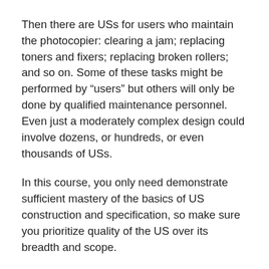Then there are USs for users who maintain the photocopier: clearing a jam; replacing toners and fixers; replacing broken rollers; and so on. Some of these tasks might be performed by “users” but others will only be done by qualified maintenance personnel. Even just a moderately complex design could involve dozens, or hundreds, or even thousands of USs.
In this course, you only need demonstrate sufficient mastery of the basics of US construction and specification, so make sure you prioritize quality of the US over its breadth and scope.
This also speaks to the need to keep USs well-organized.
In the example above, there might be many